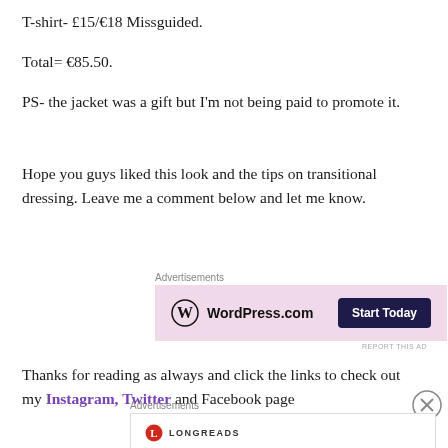T-shirt- £15/€18 Missguided.
Total= €85.50.
PS- the jacket was a gift but I'm not being paid to promote it.
Hope you guys liked this look and the tips on transitional dressing. Leave me a comment below and let me know.
[Figure (other): WordPress.com advertisement banner with pink background and 'Start Today' button]
Thanks for reading as always and click the links to check out my Instagram, Twitter and Facebook page
[Figure (other): Longreads advertisement: 'Bringing you the best stories on the web since 2009.']